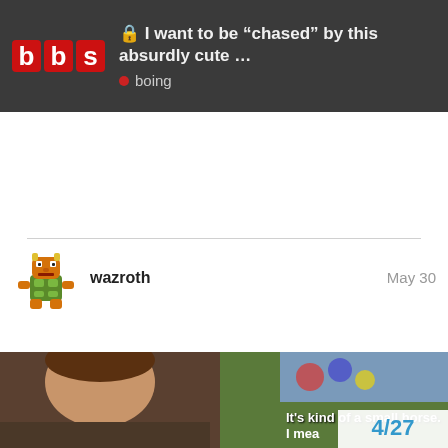🔒 I want to be “chased” by this absurdly cute ... | boing
wazroth   May 30
[Figure (photo): A man looking with a skeptical or surprised expression at something off-camera, with subtitle text reading 'It's kind of a small horse. I mea...' and a pagination counter showing 4/27 in the bottom right corner.]